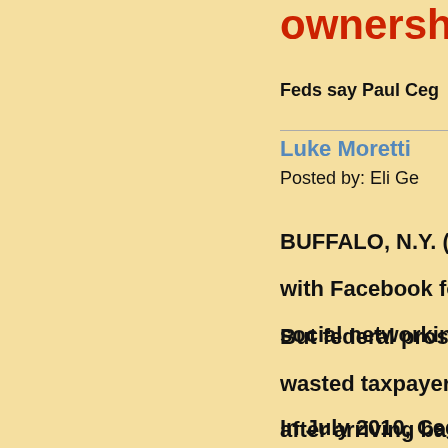ownership
Feds say Paul Ceg
Luke Moretti
Posted by: Eli Ge
BUFFALO, N.Y. (W with Facebook fo social networkin
But federal pros wasted taxpayer after arriving ba
In July 2010, Ceg Facebook. The c